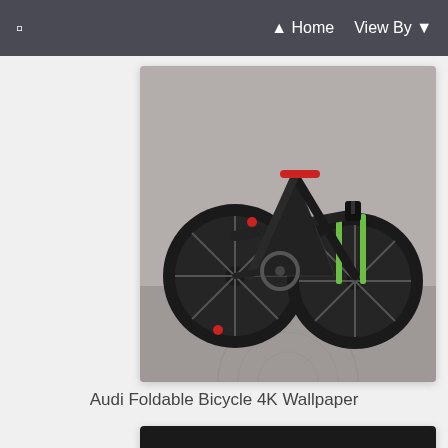☰ Home  View By ▼
[Figure (photo): A sleek black Audi foldable concept bicycle with red accents leaning against a concrete wall, photographed from the side. Carbon fiber frame, large spoked wheels, minimalist design.]
Audi Foldable Bicycle 4K Wallpaper
[Figure (photo): A bright green Audi RS Q3 SUV photographed in a dark studio setting with dramatic lighting highlighting the car's sporty design and black alloy wheels.]